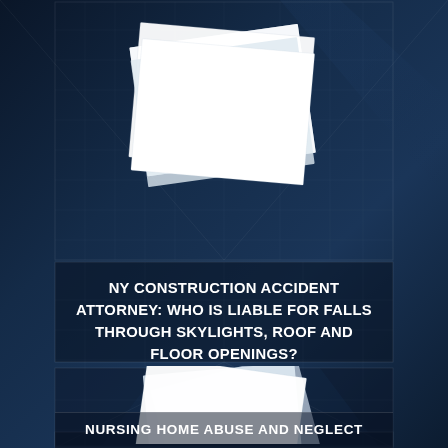[Figure (illustration): Stacked white paper documents on dark blue architectural background (top section)]
NY CONSTRUCTION ACCIDENT ATTORNEY: WHO IS LIABLE FOR FALLS THROUGH SKYLIGHTS, ROOF AND FLOOR OPENINGS?
[Figure (illustration): Stacked white paper documents on dark blue architectural background (middle section)]
NURSING HOME ABUSE AND NEGLECT